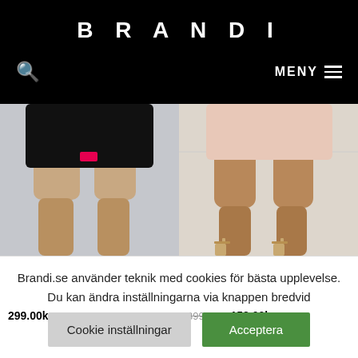BRANDI
MENY
[Figure (photo): Product photo of FILA Belmonte Short Leggings 80009 - Black Beauty M, showing black cycling shorts on a model]
Shorts
FILA Belmonte Short Leggings 80009 – Black Beauty M
299.00kr
[Figure (photo): Product photo of Object Collectors Item Riley MW Shorts Pink Tint 36, showing shorts on a model with heels]
Shorts
Object Collectors Item Riley MW Shorts Pink Tint 36
399.00kr 159.00kr
Brandi.se använder teknik med cookies för bästa upplevelse. Du kan ändra inställningarna via knappen bredvid
Cookie inställningar
Acceptera